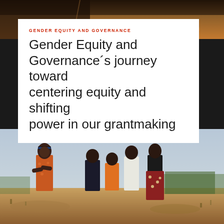[Figure (photo): Close-up photo of a road surface with orange/brown dirt and gravel texture, seen from above]
GENDER EQUITY AND GOVERNANCE
Gender Equity and Governance’s journey toward centering equity and shifting power in our grantmaking
[Figure (photo): Five young people standing outdoors in a rural landscape. A woman in an orange patterned dress stands with arms crossed on the left, three young men stand in the middle wearing dark, orange, and white shirts, and a woman in a black top and patterned skirt stands on the right. The background shows dry land with sparse trees under a hazy sky.]